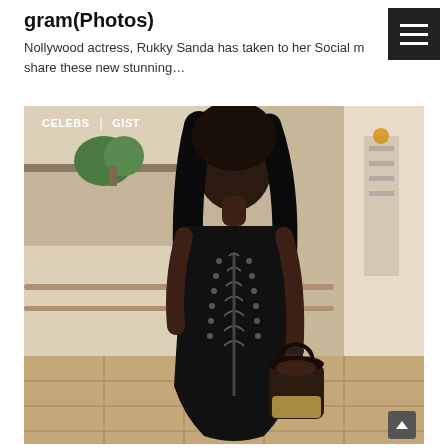gram(Photos)
Nollywood actress, Rukky Sanda has taken to her Social m share these new stunning…
[Figure (photo): A Black woman in a tight black lace-up dress holding a designer bucket bag, standing in what appears to be a hotel corridor. The photo has 'CELEBS' and 'GIST' tags overlaid in the top left corner.]